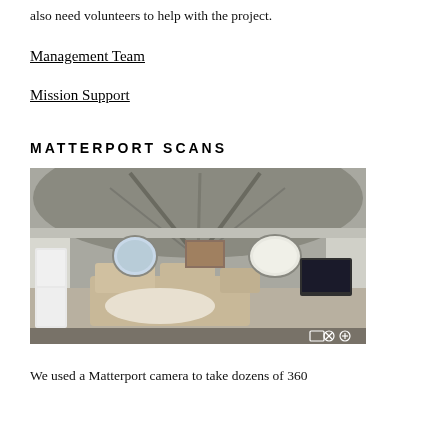also need volunteers to help with the project.
Management Team
Mission Support
MATTERPORT SCANS
[Figure (photo): Interior of a cylindrical habitat structure with dome ceiling, showing a living area with couches, a table, round porthole windows, and wall-mounted screens or artwork.]
We used a Matterport camera to take dozens of 360